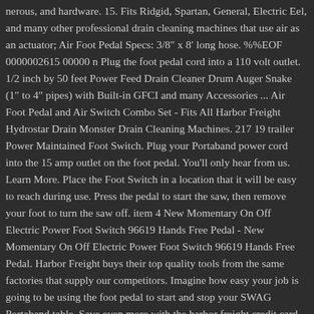nerous, and hardware. 15. Fits Ridgid, Spartan, General, Electric Eel, and many other professional drain cleaning machines that use air as an actuator; Air Foot Pedal Specs: 3/8" x 8' long hose. %%EOF 0000002615 00000 n Plug the foot pedal cord into a 110 volt outlet. 1/2 inch by 50 feet Power Feed Drain Cleaner Drum Auger Snake (1" to 4" pipes) with Built-in GFCI and many Accessories ... Air Foot Pedal and Air Switch Combo Set - Fits All Harbor Freight Hydrostar Drain Monster Drain Cleaning Machines. 217 19 trailer Power Maintained Foot Switch. Plug your Portaband power cord into the 15 amp outlet on the foot pedal. You'll only hear from us. Learn More. Place the Foot Switch in a location that it will be easy to reach during use. Press the pedal to start the saw, then remove your foot to turn the saw off. item 4 New Momentary On Off Electric Power Foot Switch 96619 Hands Free Pedal - New Momentary On Off Electric Power Foot Switch 96619 Hands Free Pedal. Harbor Freight buys their top quality tools from the same factories that supply our competitors. Imagine how easy your job is going to be using the foot pedal to start and stop your SWAG Portaband table. Save even more with the harbor freight credit card. Plug the foot pedal cord into a 110 volt outlet. Great for 115 Volt tools up to 15 amps. Add to Cart Add to My List. 'I' the 96618 2-Step Foot Switch and